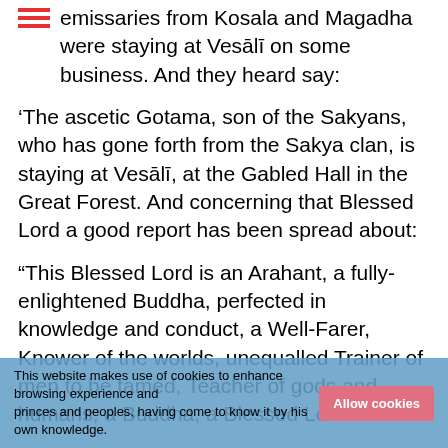emissaries from Kosala and Magadha were staying at Vesālī on some business. And they heard say:
'The ascetic Gotama, son of the Sakyans, who has gone forth from the Sakya clan, is staying at Vesālī, at the Gabled Hall in the Great Forest. And concerning that Blessed Lord a good report has been spread about:
"This Blessed Lord is an Arahant, a fully-enlightened Buddha, perfected in knowledge and conduct, a Well-Farer, Knower of the worlds, unequalled Trainer of men to be tamed, Teacher of gods and humans, a Buddha, a Blessed Lord."
He proclaims this world with its gods, maras and Brahmas, the world of ascetics and Brahmins with its princes and peoples, having come to know it by his own knowledge.
This website makes use of cookies to enhance browsing experience and ...